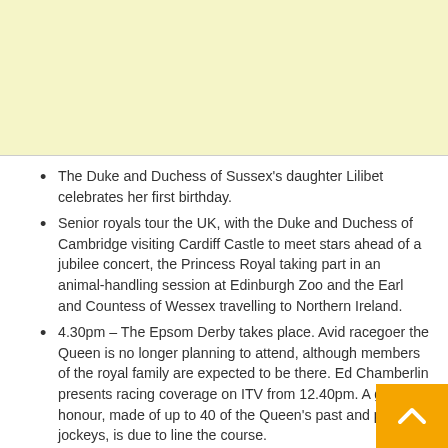[Figure (other): Light yellow advertisement banner area at top of page]
The Duke and Duchess of Sussex's daughter Lilibet celebrates her first birthday.
Senior royals tour the UK, with the Duke and Duchess of Cambridge visiting Cardiff Castle to meet stars ahead of a jubilee concert, the Princess Royal taking part in an animal-handling session at Edinburgh Zoo and the Earl and Countess of Wessex travelling to Northern Ireland.
4.30pm – The Epsom Derby takes place. Avid racegoer the Queen is no longer planning to attend, although members of the royal family are expected to be there. Ed Chamberlin presents racing coverage on ITV from 12.40pm. A guard of honour, made of up to 40 of the Queen's past and present jockeys, is due to line the course.
7.40pm – Royals arrive at the BBC's Platinum Party the Palace concert. Coverage begins on BBC One from